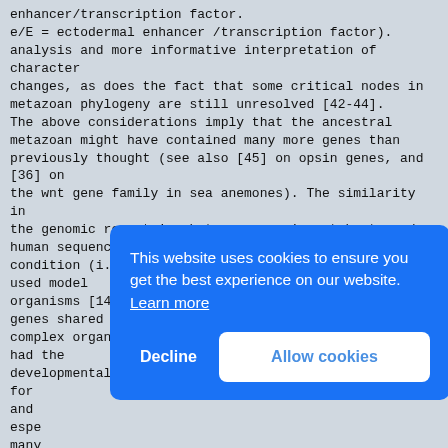enhancer/transcription factor.
e/E = ectodermal enhancer /transcription factor).
analysis and more informative interpretation of character
changes, as does the fact that some critical nodes in
metazoan phylogeny are still unresolved [42-44].
The above considerations imply that the ancestral
metazoan might have contained many more genes than
previously thought (see also [45] on opsin genes, and [36] on
the wnt gene family in sea anemones). The similarity in
the genomic repertoire between some invertebrate and
human sequences can be explained by the atypical
condition (i.e., rapid divergence) of the commonly
used model
organisms [14,15]. Another important point is whether
genes shared between morphologically simple and
complex organisms suggest that their ancestor already
had the
developmental programmes that are now implemented.
for
and
espe
many
gene
role
prob
addi
allo
grea
receptor genes did probably not yet have their
present function.
[Figure (screenshot): Cookie consent overlay banner with blue background. Text: 'This website uses cookies to ensure you get the best experience on our website. Learn more'. Two buttons: 'Decline' (text only) and 'Allow cookies' (white rounded rectangle with blue text).]